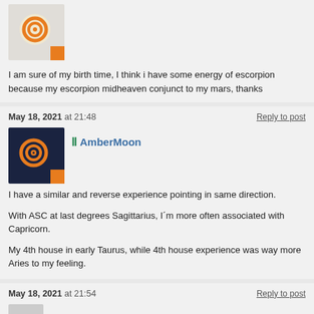[Figure (photo): User avatar: circular orange/yellow swirl on light background with orange bottom-right corner]
I am sure of my birth time, I think i have some energy of escorpion because my escorpion midheaven conjunct to my mars, thanks
May 18, 2021 at 21:48
Reply to post
[Figure (photo): User avatar: dark navy background with orange circular swirl symbol, orange bottom-right corner]
AmberMoon
I have a similar and reverse experience pointing in same direction.
With ASC at last degrees Sagittarius, I´m more often associated with Capricorn.
My 4th house in early Taurus, while 4th house experience was way more Aries to my feeling.
May 18, 2021 at 21:54
Reply to post
[Figure (photo): Partial user avatar at bottom]
Juaneob » AmberMoon